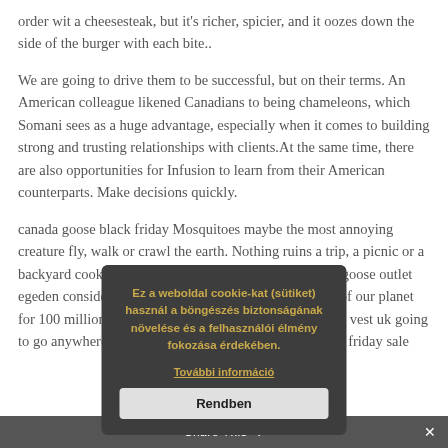order wit a cheesesteak, but it’s richer, spicier, and it oozes down the side of the burger with each bite..
We are going to drive them to be successful, but on their terms. An American colleague likened Canadians to being chameleons, which Somani sees as a huge advantage, especially when it comes to building strong and trusting relationships with clients.At the same time, there are also opportunities for Infusion to learn from their American counterparts. Make decisions quickly.
canada goose black friday Mosquitoes maybe the most annoying creature fly, walk or crawl the earth. Nothing ruins a trip, a picnic or a backyard cookout like biting insects. When you canada goose outlet egeden consider that mosquitoes have been inhabitants of our planet for 100 million years, it’s not likely they’re canada goose vest uk going to go anywhere anytime soon either. canada goose black friday sale
[Figure (screenshot): Cookie consent modal dialog with dark gray background. Title text in gold/yellow: 'Ez a weboldal cookie-kat (sütiket) használ a böngészés biztonságának növelése és a felhasználói élmény fokozása érdekében.' Link text: 'További információ'. Button: 'Rendben']
[Figure (screenshot): Share This bar at bottom of page with dark gray background and white text 'Share This' with dropdown arrow and X close button]